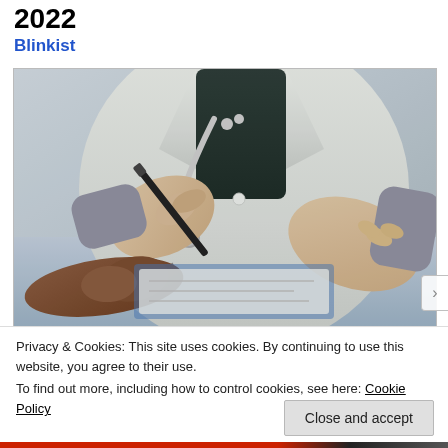2022
Blinkist
[Figure (photo): Doctor in white coat with stethoscope holding a pen, gesturing toward a patient across a desk with papers/clipboard. Medical consultation scene.]
Privacy & Cookies: This site uses cookies. By continuing to use this website, you agree to their use.
To find out more, including how to control cookies, see here: Cookie Policy
Close and accept